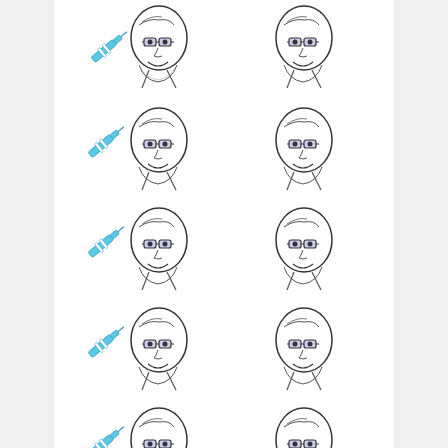[Figure (illustration): Grid of 12 cartoon face illustrations (NPC meme face with glasses and beard), arranged in 2 columns and 6 rows. Left column faces have a blue syringe/needle icon near them. Right column faces appear without the syringe.]